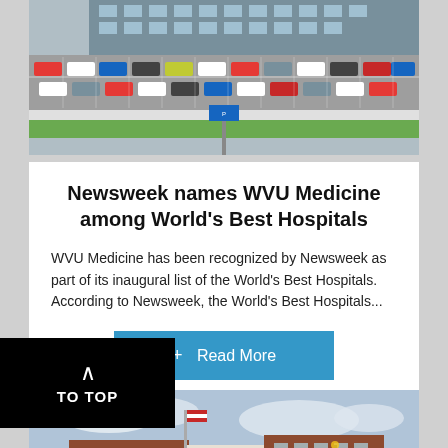[Figure (photo): Aerial/ground-level view of a hospital or medical facility with a large parking lot full of cars, green grass lawn, and a multi-story building in the background.]
Newsweek names WVU Medicine among World's Best Hospitals
WVU Medicine has been recognized by Newsweek as part of its inaugural list of the World's Best Hospitals. According to Newsweek, the World's Best Hospitals...
+ Read More
[Figure (photo): Exterior photo of a brick hospital or medical building with white columns at the entrance, a flagpole with an American flag, and trees and green lawn in the foreground under a cloudy sky.]